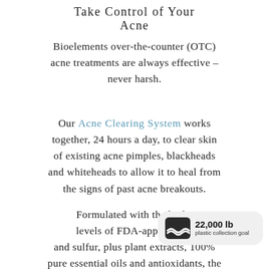Take Control of Your Acne
Bioelements over-the-counter (OTC) acne treatments are always effective – never harsh.
Our Acne Clearing System works together, 24 hours a day, to clear skin of existing acne pimples, blackheads and whiteheads to allow it to heal from the signs of past acne breakouts.
Formulated with the highe levels of FDA-approved s. and sulfur, plus plant extracts, 100% pure essential oils and antioxidants, the Acne Clearing System delivers clear,
[Figure (infographic): Badge showing 22,000 lb plastic collection goal with wave icon]